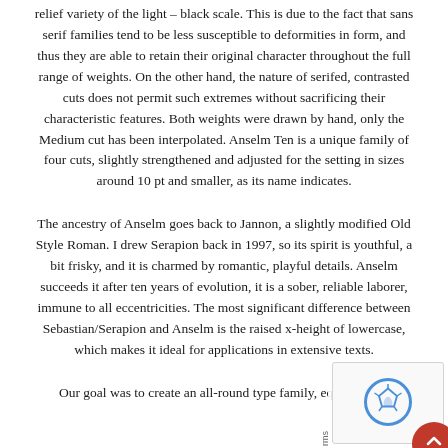relief variety of the light – black scale. This is due to the fact that sans serif families tend to be less susceptible to deformities in form, and thus they are able to retain their original character throughout the full range of weights. On the other hand, the nature of serifed, contrasted cuts does not permit such extremes without sacrificing their characteristic features. Both weights were drawn by hand, only the Medium cut has been interpolated. Anselm Ten is a unique family of four cuts, slightly strengthened and adjusted for the setting in sizes around 10 pt and smaller, as its name indicates.
The ancestry of Anselm goes back to Jannon, a slightly modified Old Style Roman. I drew Serapion back in 1997, so its spirit is youthful, a bit frisky, and it is charmed by romantic, playful details. Anselm succeeds it after ten years of evolution, it is a sober, reliable laborer, immune to all eccentricities. The most significant difference between Sebastian/Serapion and Anselm is the raised x-height of lowercase, which makes it ideal for applications in extensive texts.
Our goal was to create an all-round type family, equally suita...